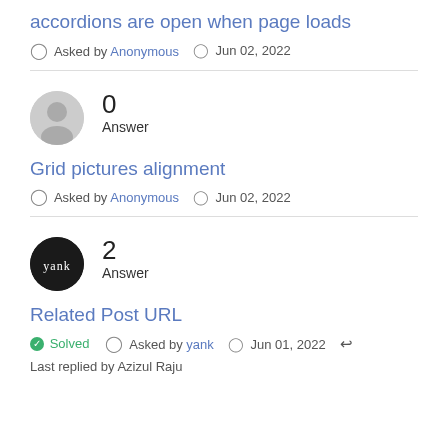accordions are open when page loads
Asked by Anonymous  Jun 02, 2022
0
Answer
Grid pictures alignment
Asked by Anonymous  Jun 02, 2022
2
Answer
Related Post URL
Solved  Asked by yank  Jun 01, 2022
Last replied by Azizul Raju